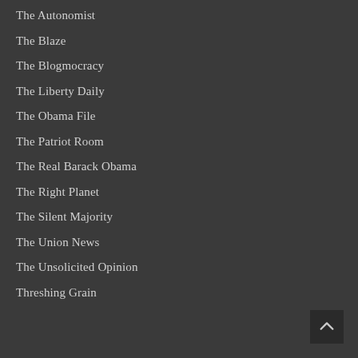The Autonomist
The Blaze
The Blogmocracy
The Liberty Daily
The Obama File
The Patriot Room
The Real Barack Obama
The Right Planet
The Silent Majority
The Union News
The Unsolicited Opinion
Threshing Grain